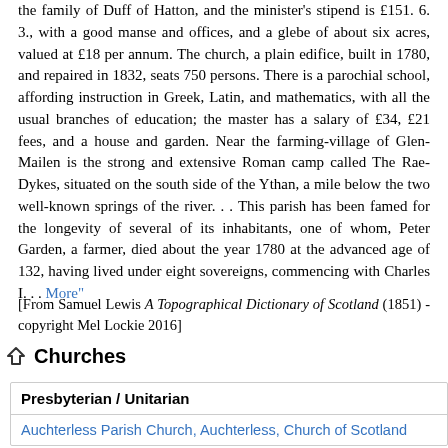the family of Duff of Hatton, and the minister's stipend is £151. 6. 3., with a good manse and offices, and a glebe of about six acres, valued at £18 per annum. The church, a plain edifice, built in 1780, and repaired in 1832, seats 750 persons. There is a parochial school, affording instruction in Greek, Latin, and mathematics, with all the usual branches of education; the master has a salary of £34, £21 fees, and a house and garden. Near the farming-village of Glen-Mailen is the strong and extensive Roman camp called The Rae-Dykes, situated on the south side of the Ythan, a mile below the two well-known springs of the river. . . This parish has been famed for the longevity of several of its inhabitants, one of whom, Peter Garden, a farmer, died about the year 1780 at the advanced age of 132, having lived under eight sovereigns, commencing with Charles I. . . More"
[From Samuel Lewis A Topographical Dictionary of Scotland (1851) - copyright Mel Lockie 2016]
Churches
| Presbyterian / Unitarian |
| --- |
| Auchterless Parish Church, Auchterless, Church of Scotland |